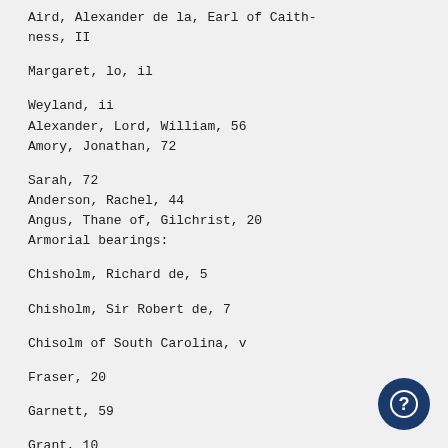Aird, Alexander de la, Earl of Caithness, II
Margaret, lo, il
Weyland, ii
Alexander, Lord, William, 56
Amory, Jonathan, 72
Sarah, 72
Anderson, Rachel, 44
Angus, Thane of, Gilchrist, 20
Armorial bearings:
Chisholm, Richard de, 5
Chisholm, Sir Robert de, 7
Chisolm of South Carolina, v
Fraser, 20
Garnett, 59
Grant, 10